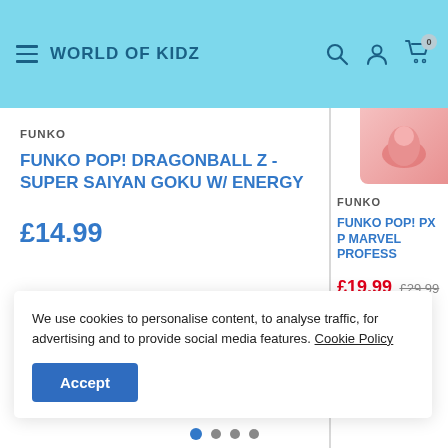World Of Kidz
FUNKO
FUNKO POP! DRAGONBALL Z - SUPER SAIYAN GOKU W/ ENERGY
£14.99
FUNKO
FUNKO POP! PX P MARVEL PROFESS
£19.99  £29.99
We use cookies to personalise content, to analyse traffic, for advertising and to provide social media features. Cookie Policy
Accept